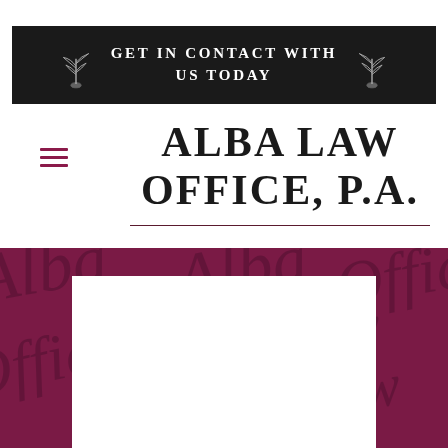GET IN CONTACT WITH US TODAY
ALBA LAW OFFICE, P.A.
[Figure (illustration): Maroon background section with script watermark text and a white rectangular card/panel in the center]